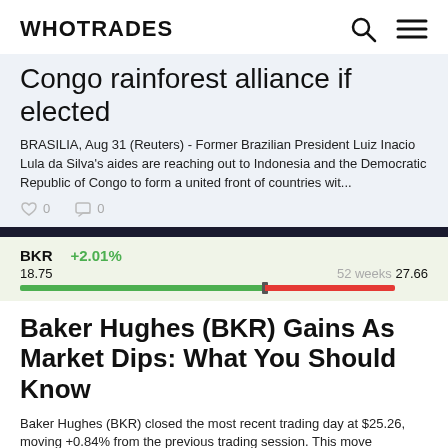WHOTRADES
Congo rainforest alliance if elected
BRASILIA, Aug 31 (Reuters) - Former Brazilian President Luiz Inacio Lula da Silva's aides are reaching out to Indonesia and the Democratic Republic of Congo to form a united front of countries wit...
0  0
BKR +2.01%
18.75   52 weeks 27.66
Baker Hughes (BKR) Gains As Market Dips: What You Should Know
Baker Hughes (BKR) closed the most recent trading day at $25.26, moving +0.84% from the previous trading session. This move outpaced the S&P 500's daily loss of 0.78%. At the same time,...